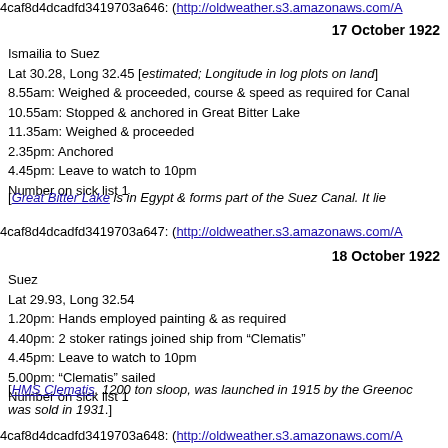4caf8d4dcadfd3419703a646: (http://oldweather.s3.amazonaws.com/A
17 October 1922
Ismailia to Suez
Lat 30.28, Long 32.45 [estimated; Longitude in log plots on land]
8.55am: Weighed & proceeded, course & speed as required for Canal
10.55am: Stopped & anchored in Great Bitter Lake
11.35am: Weighed & proceeded
2.35pm: Anchored
4.45pm: Leave to watch to 10pm
Number on sick list 1
[The Great Bitter Lake is in Egypt & forms part of the Suez Canal. It lie
4caf8d4dcadfd3419703a647: (http://oldweather.s3.amazonaws.com/A
18 October 1922
Suez
Lat 29.93, Long 32.54
1.20pm: Hands employed painting & as required
4.40pm: 2 stoker ratings joined ship from "Clematis"
4.45pm: Leave to watch to 10pm
5.00pm: "Clematis" sailed
Number on sick list 1
[HMS Clematis, 1200 ton sloop, was launched in 1915 by the Greenoc was sold in 1931.]
4caf8d4dcadfd3419703a648: (http://oldweather.s3.amazonaws.com/A